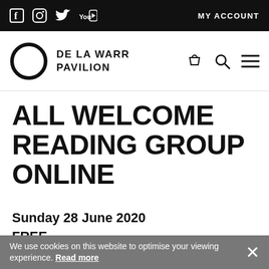f [Instagram] [Twitter] [YouTube] MY ACCOUNT
[Figure (logo): De La Warr Pavilion logo — black circle outline with text 'DE LA WARR PAVILION' to the right, and navigation icons (basket, search, hamburger menu) on the right side]
ALL WELCOME READING GROUP ONLINE
Sunday 28 June 2020
FREE
[Figure (photo): Partial view of a book or printed page with text partially visible]
We use cookies on this website to optimise your viewing experience. Read more